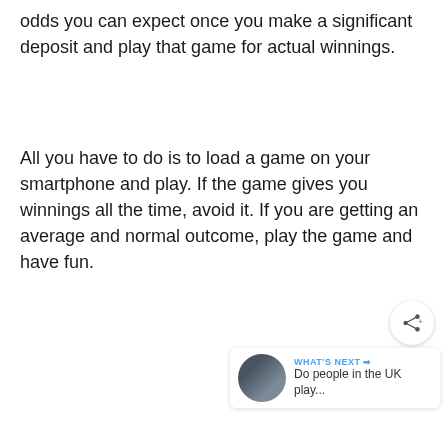odds you can expect once you make a significant deposit and play that game for actual winnings.
All you have to do is to load a game on your smartphone and play. If the game gives you winnings all the time, avoid it. If you are getting an average and normal outcome, play the game and have fun.
[Figure (other): UI widget showing a heart/like button with count of 1 and a share button]
[Figure (other): What's Next widget showing a thumbnail and text: Do people in the UK play...]